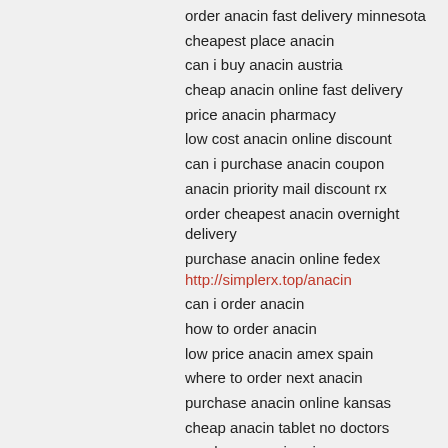order anacin fast delivery minnesota
cheapest place anacin
can i buy anacin austria
cheap anacin online fast delivery
price anacin pharmacy
low cost anacin online discount
can i purchase anacin coupon
anacin priority mail discount rx
order cheapest anacin overnight delivery
purchase anacin online fedex http://simplerx.top/anacin
can i order anacin
how to order anacin
low price anacin amex spain
where to order next anacin
purchase anacin online kansas
cheap anacin tablet no doctors
purchase anacin arizona
where can i buy anacin
how to buy paracetamol anacin
tylenol anacin online without prescription
anacin pain ach no rx
want to buy anacin tablets
buy anacin tallahassee
anacin self emulsifying drug delivery
anacin online cash on delivery